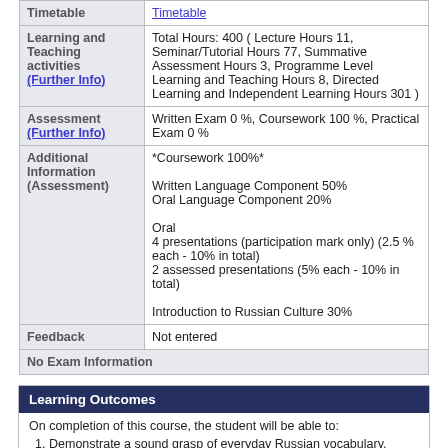| Field | Value |
| --- | --- |
| Timetable | Timetable |
| Learning and Teaching activities (Further Info) | Total Hours: 400 ( Lecture Hours 11, Seminar/Tutorial Hours 77, Summative Assessment Hours 3, Programme Level Learning and Teaching Hours 8, Directed Learning and Independent Learning Hours 301 ) |
| Assessment (Further Info) | Written Exam 0 %, Coursework 100 %, Practical Exam 0 % |
| Additional Information (Assessment) | *Coursework 100%*

Written Language Component 50%
Oral Language Component 20%

Oral
4 presentations (participation mark only) (2.5 % each - 10% in total)
2 assessed presentations (5% each - 10% in total)

Introduction to Russian Culture 30% |
| Feedback | Not entered |
| No Exam Information |  |
Learning Outcomes
On completion of this course, the student will be able to:
Demonstrate a sound grasp of everyday Russian vocabulary, grammar and syntax.